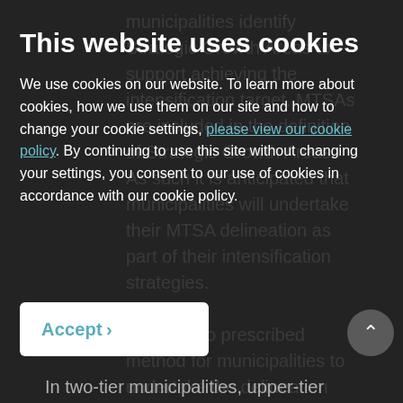municipalities identify Strategic Growth Areas to support achieving the intensification target. MTSAs are included in the definition of Strategic Growth Areas. As such it is anticipated that municipalities will undertake their MTSA delineation as part of their intensification strategies.
This website uses cookies
We use cookies on our website. To learn more about cookies, how we use them on our site and how to change your cookie settings, please view our cookie policy. By continuing to use this site without changing your settings, you consent to our use of cookies in accordance with our cookie policy.
There is no prescribed method for municipalities to undertake the delineation process. The Ministry has, however, set a July 1, 2022 deadline for municipalities to complete their MCRs.
In two-tier municipalities, upper-tier
Accept